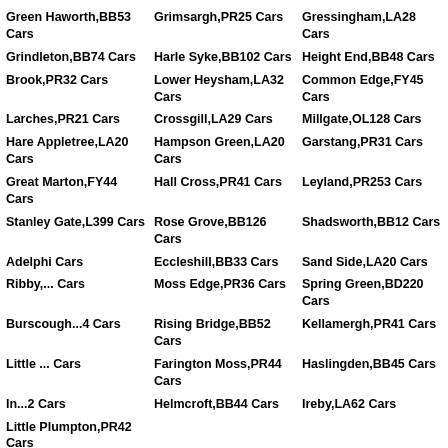Green Haworth,BB53 Cars
Grimsargh,PR25 Cars
Gressingham,LA28 Cars
Grindleton,BB74 Cars
Harle Syke,BB102 Cars
Height End,BB48 Cars
Brook,PR32 Cars
Lower Heysham,LA32 Cars
Common Edge,FY45 Cars
Larches,PR21 Cars
Crossgill,LA29 Cars
Millgate,OL128 Cars
Hare Appletree,LA20 Cars
Hampson Green,LA20 Cars
Garstang,PR31 Cars
Great Marton,FY44 Cars
Hall Cross,PR41 Cars
Leyland,PR253 Cars
Stanley Gate,L399 Cars
Rose Grove,BB126 Cars
Shadsworth,BB12 Cars
Adelpth Cars
Eccleshill,BB33 Cars
Sand Side,LA20 Cars
Ribby,... Cars
Moss Edge,PR36 Cars
Spring Green,BD220 Cars
Burscough...4 Cars
Rising Bridge,BB52 Cars
Kellamergh,PR41 Cars
Little ... Cars
Farington Moss,PR44 Cars
Haslingden,BB45 Cars
In...2 Cars
Helmcroft,BB44 Cars
Ireby,LA62 Cars
Little Plumpton,PR42 Cars